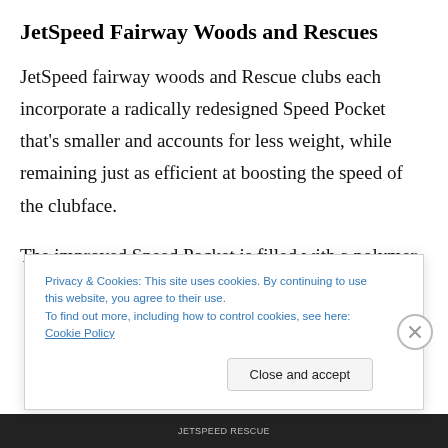JetSpeed Fairway Woods and Rescues
JetSpeed fairway woods and Rescue clubs each incorporate a radically redesigned Speed Pocket that's smaller and accounts for less weight, while remaining just as efficient at boosting the speed of the clubface.
The improved Speed Pocket is filled with a polymer
Privacy & Cookies: This site uses cookies. By continuing to use this website, you agree to their use.
To find out more, including how to control cookies, see here: Cookie Policy
Close and accept